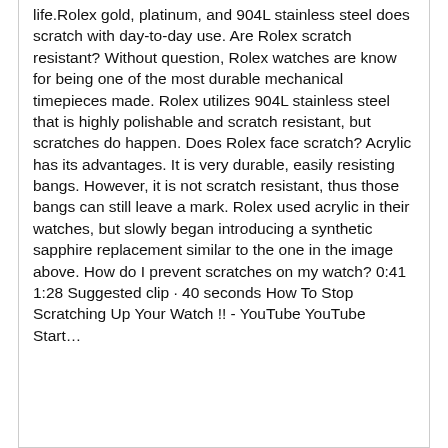life.Rolex gold, platinum, and 904L stainless steel does scratch with day-to-day use. Are Rolex scratch resistant? Without question, Rolex watches are know for being one of the most durable mechanical timepieces made. Rolex utilizes 904L stainless steel that is highly polishable and scratch resistant, but scratches do happen. Does Rolex face scratch? Acrylic has its advantages. It is very durable, easily resisting bangs. However, it is not scratch resistant, thus those bangs can still leave a mark. Rolex used acrylic in their watches, but slowly began introducing a synthetic sapphire replacement similar to the one in the image above. How do I prevent scratches on my watch? 0:41 1:28 Suggested clip · 40 seconds How To Stop Scratching Up Your Watch !! - YouTube YouTube Start…